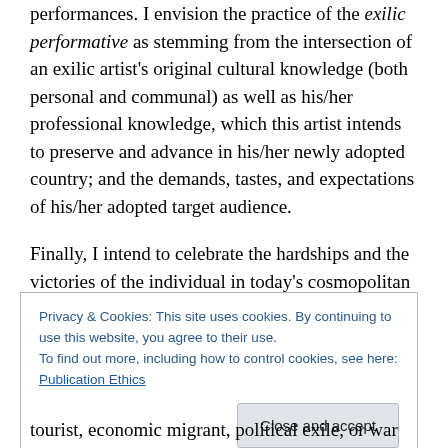performances. I envision the practice of the exilic performative as stemming from the intersection of an exilic artist's original cultural knowledge (both personal and communal) as well as his/her professional knowledge, which this artist intends to preserve and advance in his/her newly adopted country; and the demands, tastes, and expectations of his/her adopted target audience.
Finally, I intend to celebrate the hardships and the victories of the individual in today's cosmopolitan world in which exile is claimed to become the new norm of social being. This norm I argue is still an illusion. No subject of
Privacy & Cookies: This site uses cookies. By continuing to use this website, you agree to their use.
To find out more, including how to control cookies, see here: Publication Ethics
tourist, economic migrant, political exile, or war refuge